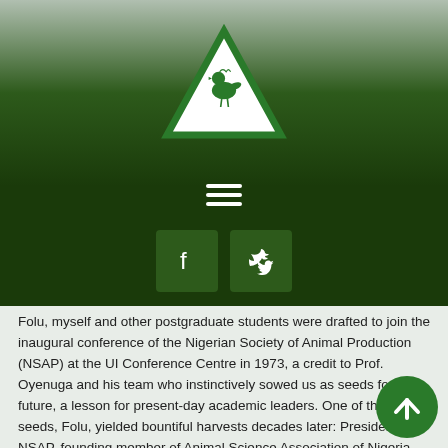[Figure (logo): NSAP/ASAN green triangle logo with animal silhouette inside, displayed on dark green gradient background with hamburger menu icon and social media buttons (Facebook and Twitter)]
Folu, myself and other postgraduate students were drafted to join the inaugural conference of the Nigerian Society of Animal Production (NSAP) at the UI Conference Centre in 1973, a credit to Prof. Oyenuga and his team who instinctively sowed us as seeds for the future, a lesson for present-day academic leaders. One of those seeds, Folu, yielded bountiful harvests decades later: President of NSAP, founding member of Animal Science Association of Nigeria (ASAN) and President, Nigerian Institute of Animal Science